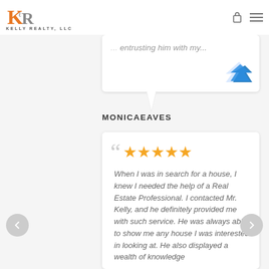[Figure (logo): Kelly Realty LLC logo with KR monogram in orange and grey, and text KELLY REALTY, LLC below]
entrusting him with my...
[Figure (logo): Zillow logo - blue zigzag arrow shape]
MONICAEAVES
[Figure (other): 5 gold stars rating]
When I was in search for a house, I knew I needed the help of a Real Estate Professional. I contacted Mr. Kelly, and he definitely provided me with such service. He was always able to show me any house I was interested in looking at. He also displayed a wealth of knowledge